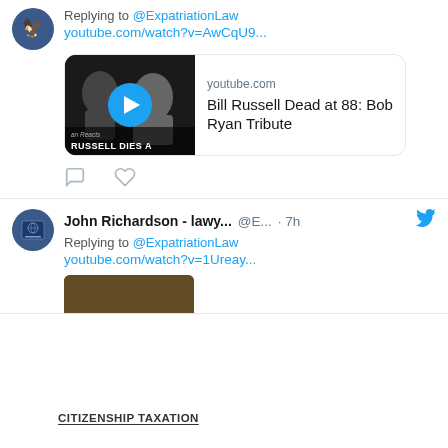Replying to @ExpatriationLaw
youtube.com/watch?v=AwCqU9...
[Figure (screenshot): YouTube video preview card for 'Bill Russell Dead at 88: Bob Ryan Tribute' from youtube.com]
John Richardson - lawy... @E... · 7h
Replying to @ExpatriationLaw
youtube.com/watch?v=1Ureay...
CITIZENSHIP TAXATION